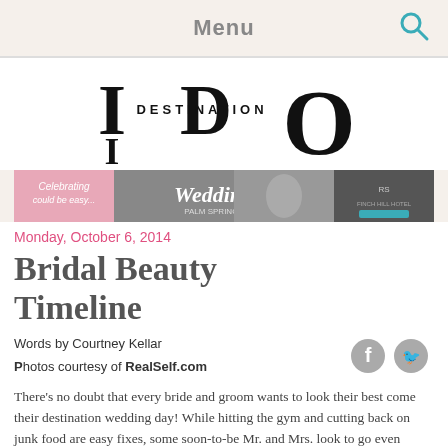Menu
[Figure (logo): Destination I Do logo — stylized 'I DO' lettering with 'DESTINATION' text]
[Figure (photo): Banner advertisement for destination weddings — shows wedding couple and resort imagery]
Monday, October 6, 2014
Bridal Beauty Timeline
Words by Courtney Kellar
Photos courtesy of RealSelf.com
There's no doubt that every bride and groom wants to look their best come their destination wedding day! While hitting the gym and cutting back on junk food are easy fixes, some soon-to-be Mr. and Mrs. look to go even further. If you're considering a cosmetic